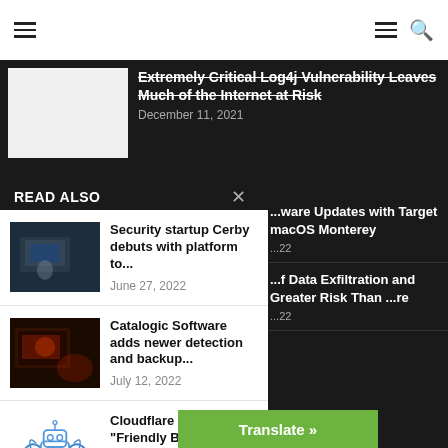Navigation bar with menu and search icons
Extremely Critical Log4j Vulnerability Leaves Much of the Internet at Risk
December 11, 2021
READ ALSO
Security startup Cerby debuts with platform to...
June 27, 2022
Catalogic Software adds newer detection and backup...
July 12, 2022
Cloudflare Launches "Friendly Bots" For Swif...
...ware Updates with Target macOS Monterey
...22
...f Data Exfiltration and Greater Risk Than ...re
...22
Translate »